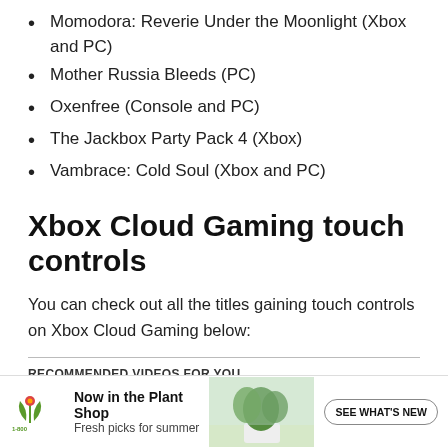Momodora: Reverie Under the Moonlight (Xbox and PC)
Mother Russia Bleeds (PC)
Oxenfree (Console and PC)
The Jackbox Party Pack 4 (Xbox)
Vambrace: Cold Soul (Xbox and PC)
Xbox Cloud Gaming touch controls
You can check out all the titles gaining touch controls on Xbox Cloud Gaming below:
RECOMMENDED VIDEOS FOR YOU...
[Figure (other): Advertisement banner for 1-800-Flowers.com: Now in the Plant Shop, Fresh picks for summer, with a photo of a potted plant and a SEE WHAT'S NEW button.]